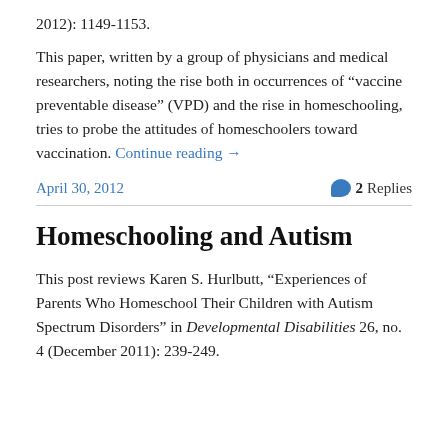2012): 1149-1153.
This paper, written by a group of physicians and medical researchers, noting the rise both in occurrences of “vaccine preventable disease” (VPD) and the rise in homeschooling, tries to probe the attitudes of homeschoolers toward vaccination. Continue reading →
April 30, 2012
2 Replies
Homeschooling and Autism
This post reviews Karen S. Hurlbutt, “Experiences of Parents Who Homeschool Their Children with Autism Spectrum Disorders” in Developmental Disabilities 26, no. 4 (December 2011): 239-249.